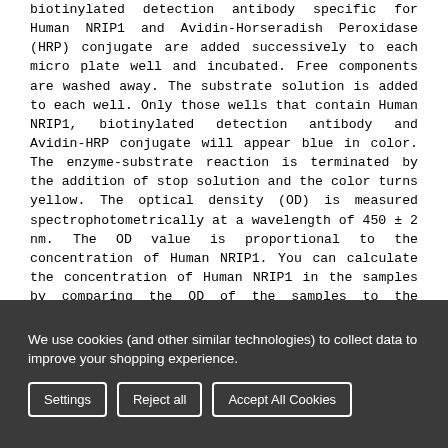biotinylated detection antibody specific for Human NRIP1 and Avidin-Horseradish Peroxidase (HRP) conjugate are added successively to each micro plate well and incubated. Free components are washed away. The substrate solution is added to each well. Only those wells that contain Human NRIP1, biotinylated detection antibody and Avidin-HRP conjugate will appear blue in color. The enzyme-substrate reaction is terminated by the addition of stop solution and the color turns yellow. The optical density (OD) is measured spectrophotometrically at a wavelength of 450 ± 2 nm. The OD value is proportional to the concentration of Human NRIP1. You can calculate the concentration of Human NRIP1 in the samples by comparing the OD of the samples to the standard curve.
Specificity: This kit recognizes Human NRIP1 in samples.
We use cookies (and other similar technologies) to collect data to improve your shopping experience.